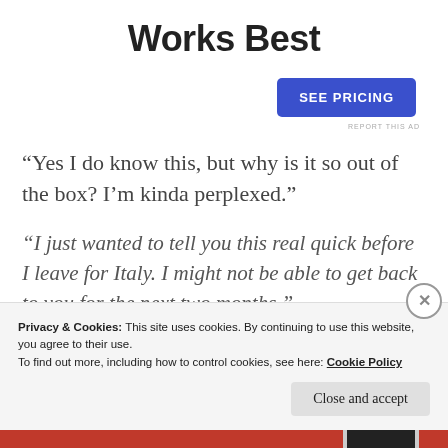Works Best
SEE PRICING
REPORT THIS AD
“Yes I do know this, but why is it so out of the box? I’m kinda perplexed.”
“I just wanted to tell you this real quick before I leave for Italy. I might not be able to get back to you for the next two months.”
Privacy & Cookies: This site uses cookies. By continuing to use this website, you agree to their use.
To find out more, including how to control cookies, see here: Cookie Policy
Close and accept